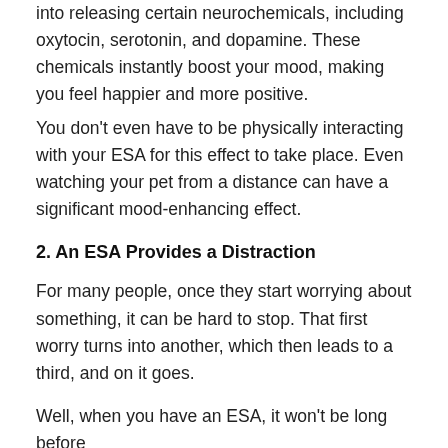into releasing certain neurochemicals, including oxytocin, serotonin, and dopamine. These chemicals instantly boost your mood, making you feel happier and more positive.
You don't even have to be physically interacting with your ESA for this effect to take place. Even watching your pet from a distance can have a significant mood-enhancing effect.
2. An ESA Provides a Distraction
For many people, once they start worrying about something, it can be hard to stop. That first worry turns into another, which then leads to a third, and on it goes.
Well, when you have an ESA, it won't be long before